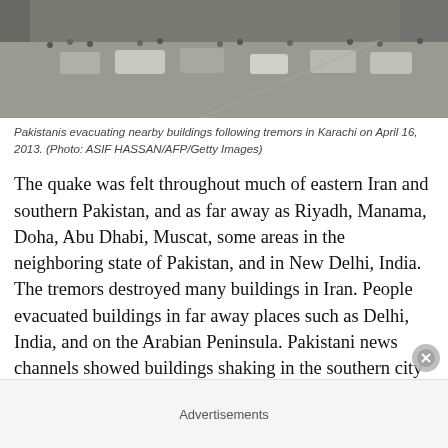[Figure (photo): Aerial/overhead view of Pakistanis evacuating nearby buildings in Karachi, with cars and people visible on a street.]
Pakistanis evacuating nearby buildings following tremors in Karachi on April 16, 2013. (Photo: ASIF HASSAN/AFP/Getty Images)
The quake was felt throughout much of eastern Iran and southern Pakistan, and as far away as Riyadh, Manama, Doha, Abu Dhabi, Muscat, some areas in the neighboring state of Pakistan, and in New Delhi, India. The tremors destroyed many buildings in Iran. People evacuated buildings in far away places such as Delhi, India, and on the Arabian Peninsula. Pakistani news channels showed buildings shaking in the southern city of Karachi. People in panic evacuated their offices and homes.
This earthquake closely follows the 6.1-magnitude quake that
Advertisements